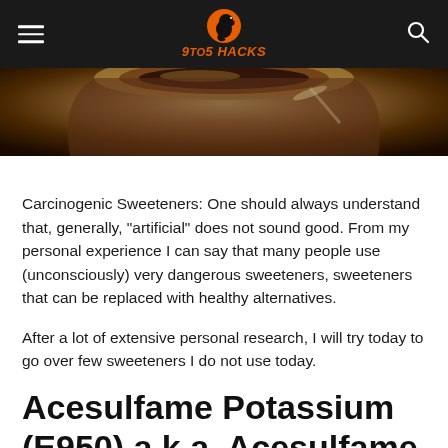9to5 HACKS
[Figure (photo): Close-up photo of a dark beverage in a cup, partially visible at the top of the page]
Carcinogenic Sweeteners: One should always understand that, generally, “artificial” does not sound good. From my personal experience I can say that many people use (unconsciously) very dangerous sweeteners, sweeteners that can be replaced with healthy alternatives.
After a lot of extensive personal research, I will try today to go over few sweeteners I do not use today.
Acesulfame Potassium (E950) a.k.a. Acesulfame K